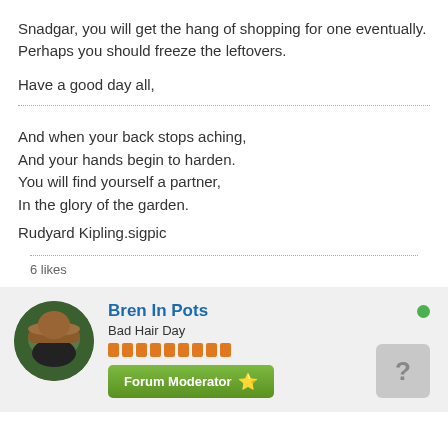Snadgar, you will get the hang of shopping for one eventually.
Perhaps you should freeze the leftovers.
Have a good day all,
And when your back stops aching,
And your hands begin to harden.
You will find yourself a partner,
In the glory of the garden.
Rudyard Kipling.sigpic
6 likes
Bren In Pots
Bad Hair Day
Forum Moderator